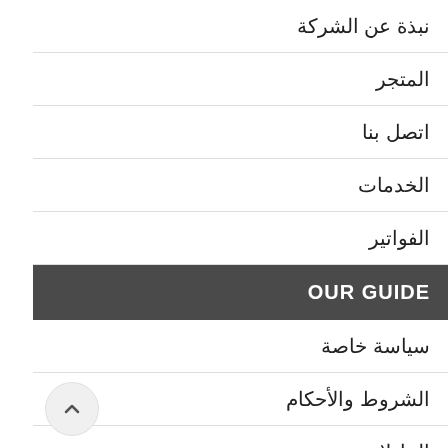نبذة عن الشركة
المتجر
اتصل بنا
الخدمات
الفواتير
OUR GUIDE
سياسة خاصة
الشروط والأحكام
التبادلات